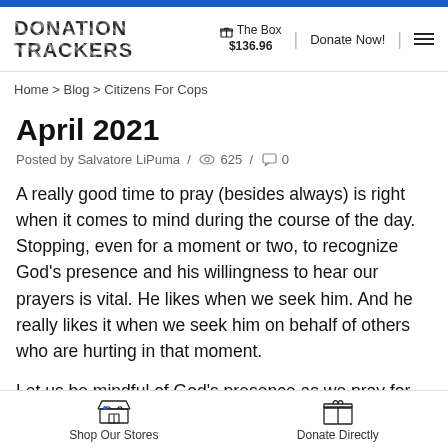DONATION TRACKERS | The Box $136.96 | Donate Now!
Home > Blog > Citizens For Cops
April 2021
Posted by Salvatore LiPuma / 625 / 0
A really good time to pray (besides always) is right when it comes to mind during the course of the day. Stopping, even for a moment or two, to recognize God's presence and his willingness to hear our prayers is vital. He likes when we seek him. And he really likes it when we seek him on behalf of others who are hurting in that moment.
Let us be mindful of God's presence as we pray for Line
Shop Our Stores | Donate Directly